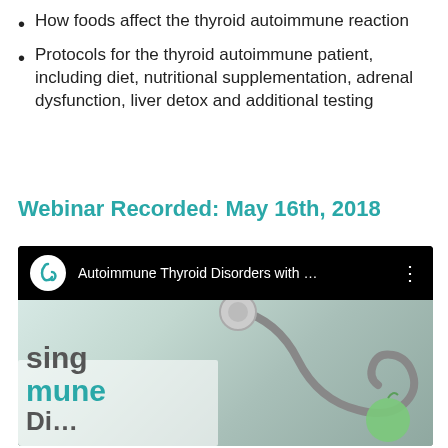How foods affect the thyroid autoimmune reaction
Protocols for the thyroid autoimmune patient, including diet, nutritional supplementation, adrenal dysfunction, liver detox and additional testing
Webinar Recorded: May 16th, 2018
[Figure (screenshot): YouTube video thumbnail showing 'Autoimmune Thyroid Disorders with ...' with channel icon and stethoscope image with partial text 'sing mune']